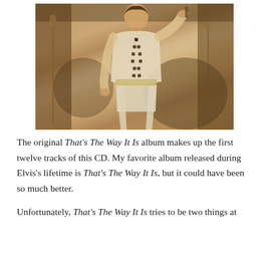[Figure (photo): Sepia-toned photograph of Elvis Presley performing on stage in a white jumpsuit with decorative buttons and a jeweled belt, holding a microphone stand, with stage equipment visible in the background.]
The original That's The Way It Is album makes up the first twelve tracks of this CD. My favorite album released during Elvis's lifetime is That's The Way It Is, but it could have been so much better.
Unfortunately, That's The Way It Is tries to be two things at